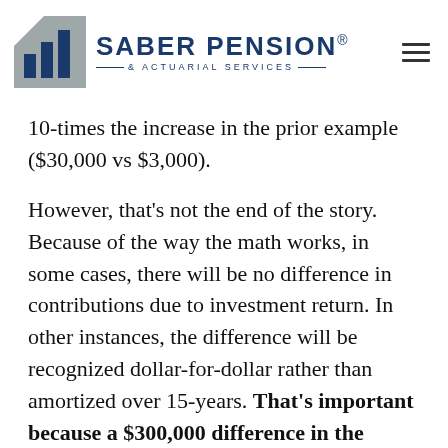SABER PENSION® & ACTUARIAL SERVICES
10-times the increase in the prior example ($30,000 vs $3,000).
However, that's not the end of the story. Because of the way the math works, in some cases, there will be no difference in contributions due to investment return. In other instances, the difference will be recognized dollar-for-dollar rather than amortized over 15-years. That's important because a $300,000 difference in the investment return, like in the previous